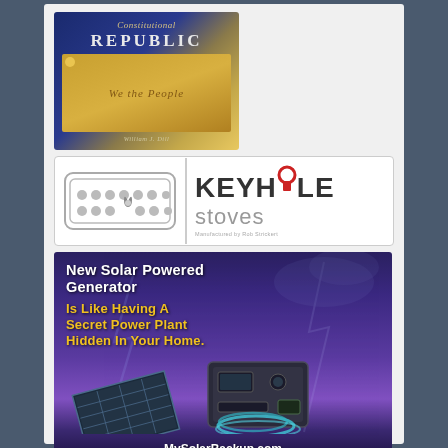[Figure (illustration): Book cover for Constitutional Republic showing gold/blue design with We the People parchment text and a star, authored by William J. Dill]
[Figure (logo): Keyhole Stoves logo with stove illustration on left and text KEYHOLE stoves on right]
[Figure (infographic): Solar powered generator advertisement with purple/blue lightning background. Text reads: New Solar Powered Generator Is Like Having A Secret Power Plant Hidden In Your Home. MySolarBackup.com. Shows solar panel and battery unit.]